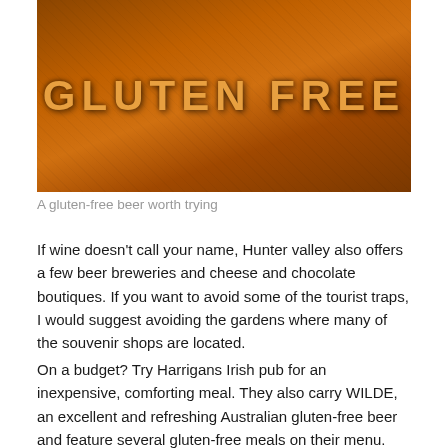[Figure (photo): A close-up photo of a beer can or bottle showing the words 'GLUTEN FREE' in large amber/orange letters on a dark brownish-orange background with condensation or texture effects.]
A gluten-free beer worth trying
If wine doesn't call your name, Hunter valley also offers a few beer breweries and cheese and chocolate boutiques. If you want to avoid some of the tourist traps, I would suggest avoiding the gardens where many of the souvenir shops are located.
On a budget? Try Harrigans Irish pub for an inexpensive, comforting meal. They also carry WILDE, an excellent and refreshing Australian gluten-free beer and feature several gluten-free meals on their menu.